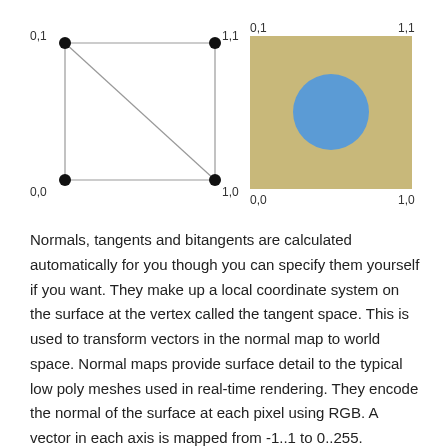[Figure (engineering-diagram): Two diagrams side by side. Left: a quadrilateral with vertices at (0,0), (1,0), (1,1), (0,1) and a diagonal line from (0,1) to (1,0), with black dots at each corner labeled 0,0 / 1,0 / 0,1 / 1,1. Right: a tan/khaki filled square with corners labeled 0,0 / 1,0 / 0,1 / 1,1 and a blue circle in the center.]
Normals, tangents and bitangents are calculated automatically for you though you can specify them yourself if you want. They make up a local coordinate system on the surface at the vertex called the tangent space. This is used to transform vectors in the normal map to world space. Normal maps provide surface detail to the typical low poly meshes used in real-time rendering. They encode the normal of the surface at each pixel using RGB. A vector in each axis is mapped from -1..1 to 0..255.